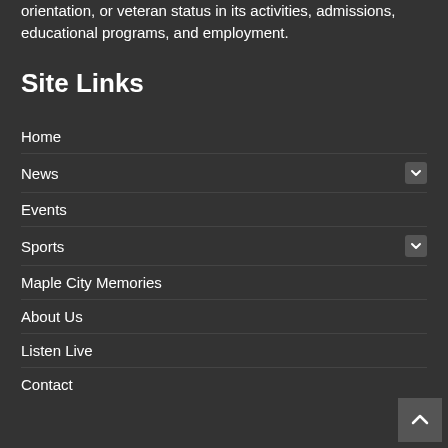orientation, or veteran status in its activities, admissions, educational programs, and employment.
Site Links
Home
News
Events
Sports
Maple City Memories
About Us
Listen Live
Contact